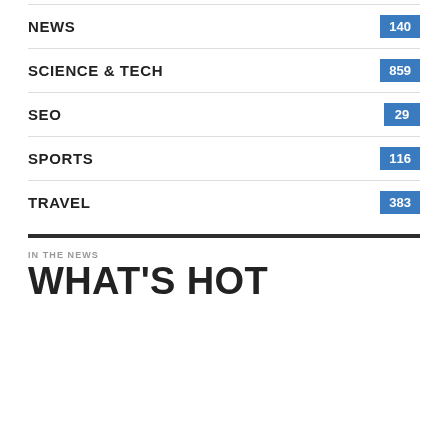NEWS 140
SCIENCE & TECH 859
SEO 29
SPORTS 116
TRAVEL 383
IN THE NEWS
WHAT'S HOT